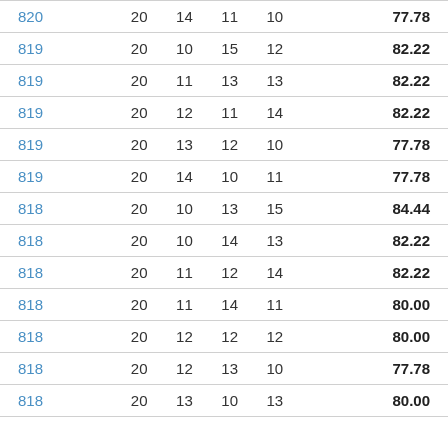| ID | Col2 | Col3 | Col4 | Col5 | Score |
| --- | --- | --- | --- | --- | --- |
| 820 | 20 | 14 | 11 | 10 | 77.78 |
| 819 | 20 | 10 | 15 | 12 | 82.22 |
| 819 | 20 | 11 | 13 | 13 | 82.22 |
| 819 | 20 | 12 | 11 | 14 | 82.22 |
| 819 | 20 | 13 | 12 | 10 | 77.78 |
| 819 | 20 | 14 | 10 | 11 | 77.78 |
| 818 | 20 | 10 | 13 | 15 | 84.44 |
| 818 | 20 | 10 | 14 | 13 | 82.22 |
| 818 | 20 | 11 | 12 | 14 | 82.22 |
| 818 | 20 | 11 | 14 | 11 | 80.00 |
| 818 | 20 | 12 | 12 | 12 | 80.00 |
| 818 | 20 | 12 | 13 | 10 | 77.78 |
| 818 | 20 | 13 | 10 | 13 | 80.00 |